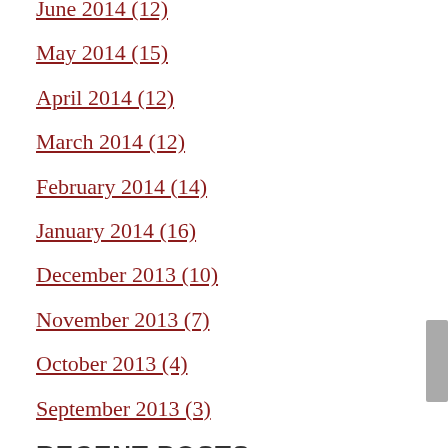June 2014 (12)
May 2014 (15)
April 2014 (12)
March 2014 (12)
February 2014 (14)
January 2014 (16)
December 2013 (10)
November 2013 (7)
October 2013 (4)
September 2013 (3)
RECENT POSTS
Will your Nevada estate planning documents expire?
Should you “disclaim” an inheritance you don’t